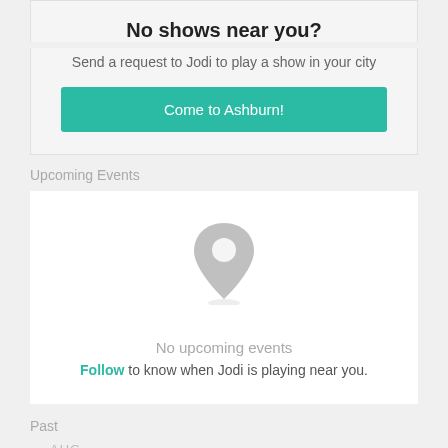No shows near you?
Send a request to Jodi to play a show in your city
Come to Ashburn!
Upcoming Events
[Figure (illustration): Gray map pin / location marker icon]
No upcoming events
Follow to know when Jodi is playing near you.
Past
AUG